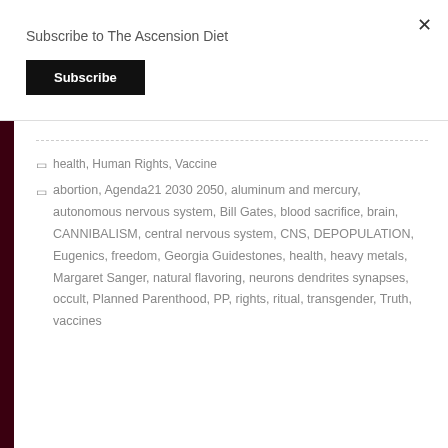Subscribe to The Ascension Diet
Subscribe
health, Human Rights, Vaccine
abortion, Agenda21 2030 2050, aluminum and mercury, autonomous nervous system, Bill Gates, blood sacrifice, brain, CANNIBALISM, central nervous system, CNS, DEPOPULATION, Eugenics, freedom, Georgia Guidestones, health, heavy metals, Margaret Sanger, natural flavoring, neurons dendrites synapses, occult, Planned Parenthood, PP, rights, ritual, transgender, Truth, vaccines